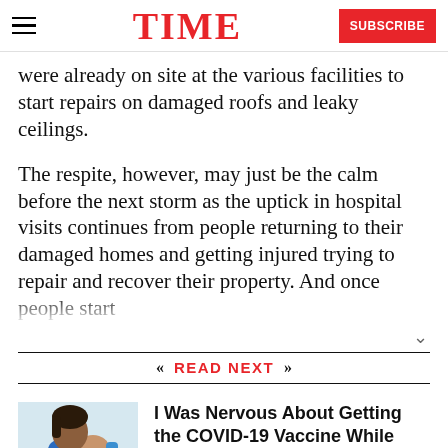TIME | SUBSCRIBE
were already on site at the various facilities to start repairs on damaged roofs and leaky ceilings.
The respite, however, may just be the calm before the next storm as the uptick in hospital visits continues from people returning to their damaged homes and getting injured trying to repair and recover their property. And once people start
READ NEXT
[Figure (photo): A pregnant woman receiving a COVID-19 vaccine injection from a healthcare worker wearing blue gloves and a mask.]
I Was Nervous About Getting the COVID-19 Vaccine While Pregnant. Here's What Convinced Me to Do It